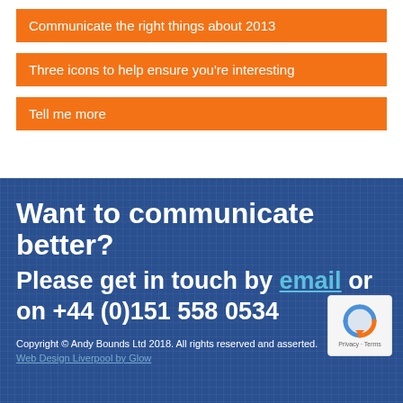Communicate the right things about 2013
Three icons to help ensure you're interesting
Tell me more
Want to communicate better?
Please get in touch by email or on +44 (0)151 558 0534
Copyright © Andy Bounds Ltd 2018. All rights reserved and asserted.
Web Design Liverpool by Glow